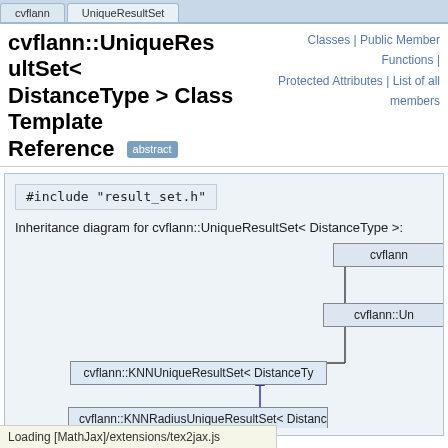cvflann | UniqueResultSet
cvflann::UniqueResultSet< DistanceType > Class Template Reference abstract
Classes | Public Member Functions | Protected Attributes | List of all members
#include "result_set.h"
Inheritance diagram for cvflann::UniqueResultSet< DistanceType >:
[Figure (other): Inheritance diagram showing class hierarchy: cvflann (top) -> cvflann::Un... (middle) -> cvflann::KNNUniqueResultSet< DistanceTy... (bottom left), and cvflann::KNNRadiusUniqueResultSet< Distance... (further below)]
Loading [MathJax]/extensions/tex2jax.js